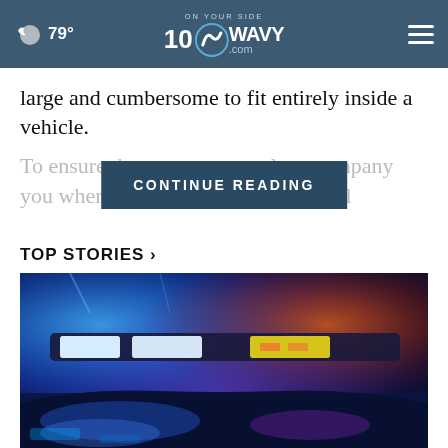☁ 79° | WAVY.com | ON YOUR SIDE 10
large and cumbersome to fit entirely inside a vehicle.
To ensure that [CONTINUE READING] ly accompany you wherever y... dedicated
TOP STORIES ›
[Figure (photo): Police car with blue and red flashing lights on top, viewed from close up at night.]